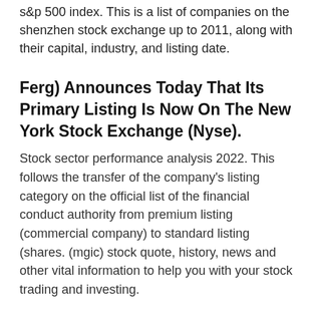s&p 500 index. This is a list of companies on the shenzhen stock exchange up to 2011, along with their capital, industry, and listing date.
Ferg) Announces Today That Its Primary Listing Is Now On The New York Stock Exchange (Nyse).
Stock sector performance analysis 2022. This follows the transfer of the company's listing category on the official list of the financial conduct authority from premium listing (commercial company) to standard listing (shares. (mgic) stock quote, history, news and other vital information to help you with your stock trading and investing.
Forestry Is Practiced In Plantations And